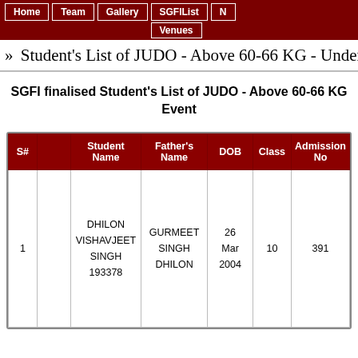Home | Team | Gallery | SGFIList | Venues
» Student's List of JUDO - Above 60-66 KG - Under 17
SGFI finalised Student's List of JUDO - Above 60-66 KG Event
| S# |  | Student Name | Father's Name | DOB | Class | Admission No |
| --- | --- | --- | --- | --- | --- | --- |
| 1 |  | DHILON VISHAVJEET SINGH 193378 | GURMEET SINGH DHILON | 26 Mar 2004 | 10 | 391 |